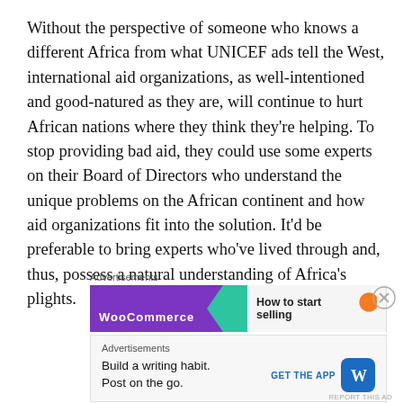Without the perspective of someone who knows a different Africa from what UNICEF ads tell the West, international aid organizations, as well-intentioned and good-natured as they are, will continue to hurt African nations where they think they're helping. To stop providing bad aid, they could use some experts on their Board of Directors who understand the unique problems on the African continent and how aid organizations fit into the solution. It'd be preferable to bring experts who've lived through and, thus, possess a natural understanding of Africa's plights.
[Figure (other): Advertisement banner for WooCommerce with purple background and 'How to start selling' text]
[Figure (other): Advertisement for WordPress app: 'Build a writing habit. Post on the go.' with GET THE APP button and WordPress logo]